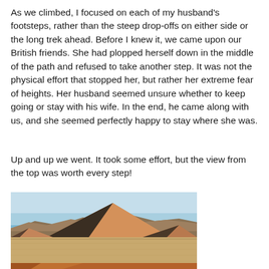As we climbed, I focused on each of my husband's footsteps, rather than the steep drop-offs on either side or the long trek ahead. Before I knew it, we came upon our British friends. She had plopped herself down in the middle of the path and refused to take another step. It was not the physical effort that stopped her, but rather her extreme fear of heights. Her husband seemed unsure whether to keep going or stay with his wife. In the end, he came along with us, and she seemed perfectly happy to stay where she was.
Up and up we went. It took some effort, but the view from the top was worth every step!
[Figure (photo): Aerial or ground-level view of a large desert sand dune with a steep shadowed face rising to a triangular peak, set against a clear blue sky, with flat desert plain in the foreground and distant rocky hills in the background.]